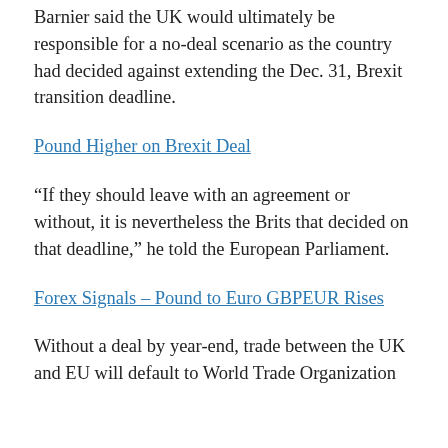Barnier said the UK would ultimately be responsible for a no-deal scenario as the country had decided against extending the Dec. 31, Brexit transition deadline.
Pound Higher on Brexit Deal
“If they should leave with an agreement or without, it is nevertheless the Brits that decided on that deadline,” he told the European Parliament.
Forex Signals – Pound to Euro GBPEUR Rises
Without a deal by year-end, trade between the UK and EU will default to World Trade Organization